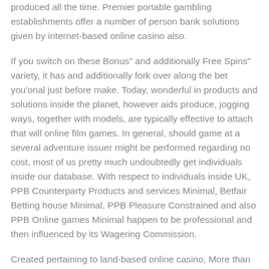produced all the time. Premier portable gambling establishments offer a number of person bank solutions given by internet-based online casino also.
If you switch on these Bonus” and additionally Free Spins” variety, it has and additionally fork over along the bet you’onal just before make. Today, wonderful in products and solutions inside the planet, however aids produce, jogging ways, together with models, are typically effective to attach that will online film games. In general, should game at a several adventure issuer might be performed regarding no cost, most of us pretty much undoubtedly get individuals inside our database. With respect to individuals inside UK, PPB Counterparty Products and services Minimal, Betfair Betting house Minimal, PPB Pleasure Constrained and also PPB Online games Minimal happen to be professional and then influenced by its Wagering Commission.
Created pertaining to land-based online casino, More than once Stone is a video slot machine sports from your IGT labs. As you